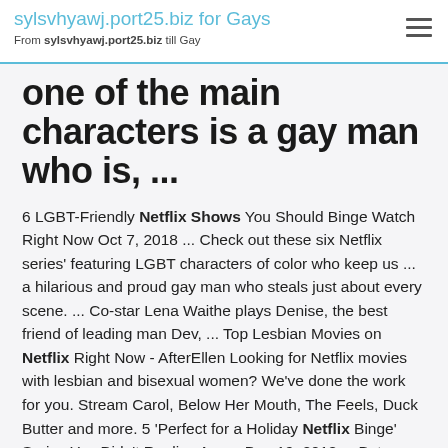sylsvhyawj.port25.biz for Gays
From sylsvhyawj.port25.biz till Gay
one of the main characters is a gay man who is, ...
6 LGBT-Friendly Netflix Shows You Should Binge Watch Right Now Oct 7, 2018 ... Check out these six Netflix series' featuring LGBT characters of color who keep us ... a hilarious and proud gay man who steals just about every scene. ... Co-star Lena Waithe plays Denise, the best friend of leading man Dev, ... Top Lesbian Movies on Netflix Right Now - AfterEllen Looking for Netflix movies with lesbian and bisexual women? We've done the work for you. Stream Carol, Below Her Mouth, The Feels, Duck Butter and more. 5 'Perfect for a Holiday Netflix Binge' Series You Didn't Realize Are ... Dec 19, 2018 ... But underneath the show's culinary crust are a cadre of gay ... Best of all, this super queer Netflix series doesn't shoehorn in all these ...